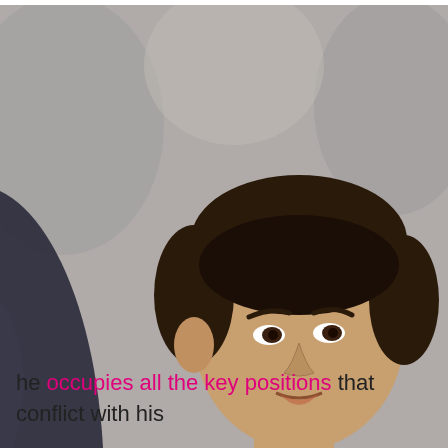[Figure (photo): A man in a dark suit and red tie sits at a table, leaning forward with hands clasped. He appears to be in a formal meeting or hearing setting. Other people are visible in the blurred background.]
he occupies all the key positions that conflict with his